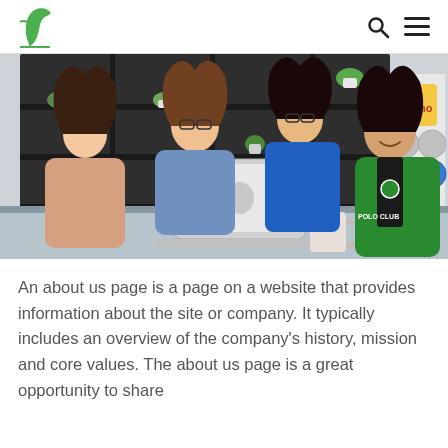[Logo: green leaf/feather icon] [Search icon] [Menu icon]
[Figure (photo): Four people (three women and one man) looking at a laptop screen together in a modern office setting with shelving and plants in the background. The man is wearing a green polo shirt.]
An about us page is a page on a website that provides information about the site or company. It typically includes an overview of the company's history, mission and core values. The about us page is a great opportunity to share